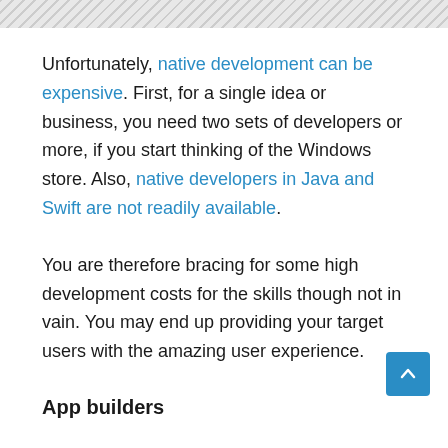[Figure (other): Diagonal striped gray banner image at top of page]
Unfortunately, native development can be expensive. First, for a single idea or business, you need two sets of developers or more, if you start thinking of the Windows store. Also, native developers in Java and Swift are not readily available.
You are therefore bracing for some high development costs for the skills though not in vain. You may end up providing your target users with the amazing user experience.
App builders
From drag and drop website builders, were now have